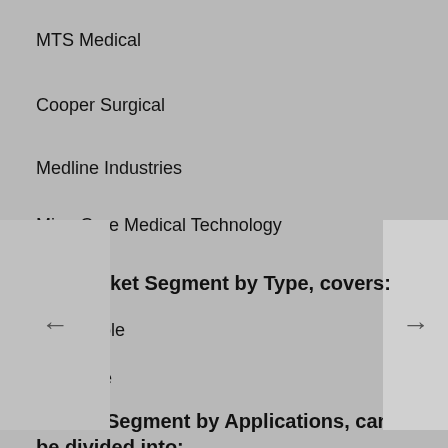MTS Medical
Cooper Surgical
Medline Industries
MicroCure Medical Technology
ket Segment by Type, covers:
Disposable
Reusable
Market Segment by Applications, can be divided into: